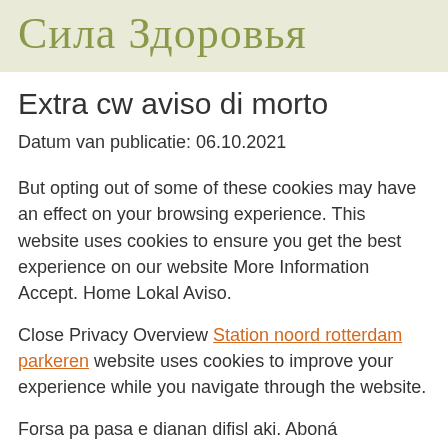[Figure (logo): Stylized cursive logo text reading 'Сила Здоровья' in olive/sage green color on a light beige background]
Extra cw aviso di morto
Datum van publicatie: 06.10.2021
But opting out of some of these cookies may have an effect on your browsing experience. This website uses cookies to ensure you get the best experience on our website More Information Accept. Home Lokal Aviso.
Close Privacy Overview Station noord rotterdam parkeren website uses cookies to improve your experience while you navigate through the website.
Forsa pa pasa e dianan difisl aki. Aboná Propaganda